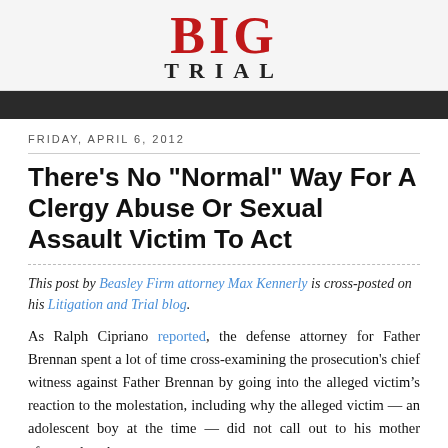BIG TRIAL
FRIDAY, APRIL 6, 2012
There's No "Normal" Way For A Clergy Abuse Or Sexual Assault Victim To Act
This post by Beasley Firm attorney Max Kennerly is cross-posted on his Litigation and Trial blog.
As Ralph Cipriano reported, the defense attorney for Father Brennan spent a lot of time cross-examining the prosecution's chief witness against Father Brennan by going into the alleged victim’s reaction to the molestation, including why the alleged victim — an adolescent boy at the time — did not call out to his mother afterwards, why